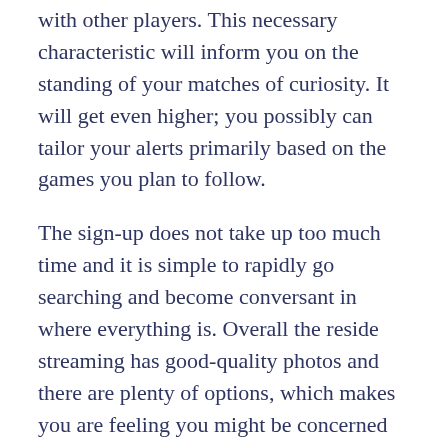with other players. This necessary characteristic will inform you on the standing of your matches of curiosity. It will get even higher; you possibly can tailor your alerts primarily based on the games you plan to follow.
The sign-up does not take up too much time and it is simple to rapidly go searching and become conversant in where everything is. Overall the reside streaming has good-quality photos and there are plenty of options, which makes you are feeling you might be concerned more with the game regardless of being behind your computer screen.
Hundreds of thousands of on-line transactions cross by way of the bet365 network in real time day by day. Sudlows were capable of ship bet365's new connectivity infrastructure with minimal interruption to the